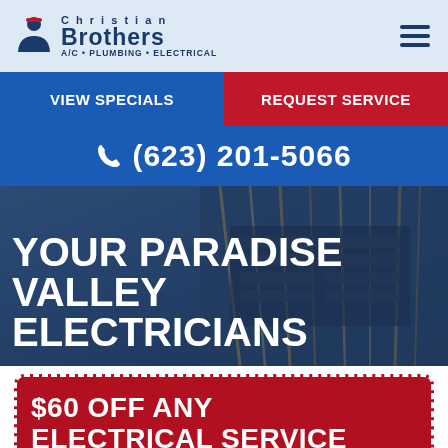Christian Brothers A/C · Plumbing · Electrical
[Figure (logo): Christian Brothers A/C Plumbing Electrical logo with person icon]
VIEW SPECIALS
REQUEST SERVICE
(623) 201-5066
YOUR PARADISE VALLEY ELECTRICIANS
[Figure (photo): Electrician working on electrical panel with wires, blue-tinted background]
$60 OFF ANY ELECTRICAL SERVICE OR REPAIR